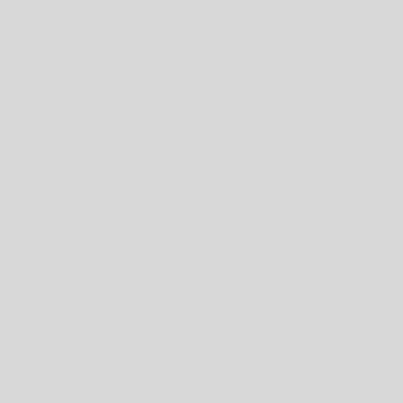| Icon | Name | Date |
| --- | --- | --- |
| RIP | Art Linkletter | 7/1 |
|  | Rex Linn | 11/1 |
| RIP | Larry Linville | 9/2 |
| RIP | Ray Liotta | 12/1 |
|  | Tara Lipinski | 6/1 |
| RIP | James Lipton | 9/1 |
| RIP | Peggy Lipton | 8/3 |
| RIP | Sonny Liston | 5. |
|  | John Lithgow | 10/1 |
| RIP | Cleavon Little | 6. |
|  | Brian Littrell | 2/2 |
| 80+ | Rich Little | 11/2 |
|  | Barry Livingston | 12/1 |
|  | Stanley Livingston | 11/2 |
| RIP | Desmond Llewelyn | 9/1 |
| 80+ | Christopher Lloyd | 10/2 |